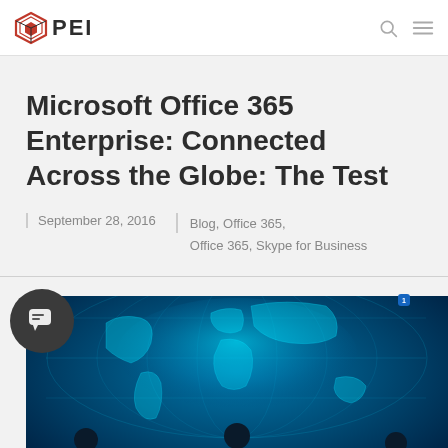PEI
Microsoft Office 365 Enterprise: Connected Across the Globe: The Test
September 28, 2016  |  Blog, Office 365, Office 365, Skype for Business
[Figure (photo): World map with silhouettes of business people on a blue glowing globe background]